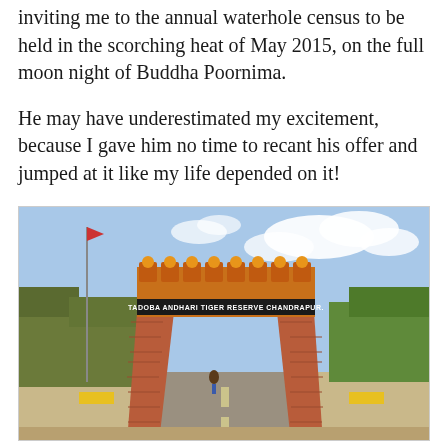inviting me to the annual waterhole census to be held in the scorching heat of May 2015, on the full moon night of Buddha Poornima.
He may have underestimated my excitement, because I gave him no time to recant his offer and jumped at it like my life depended on it!
[Figure (photo): Entrance gate of Tadoba Andhari Tiger Reserve, Chandrapur. A brick archway with two large conical brick pillars and a sign reading 'TADOBA ANDHARI TIGER RESERVE CHANDRAPUR.' across the top. The gate has decorative battlements along the arch. Trees and a blue sky with clouds visible in the background.]